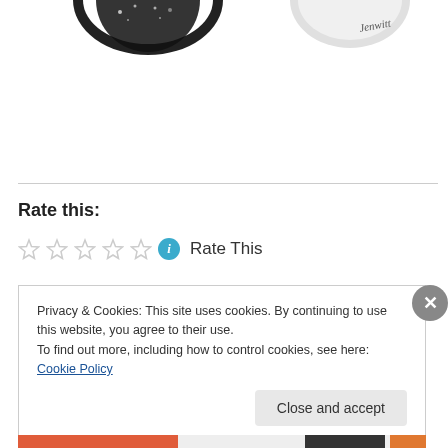[Figure (illustration): Partial view of two illustrated circular images at the top of the page — appears to be decorative artwork with dark/black tones, partially cropped]
Rate this:
[Figure (other): Five empty star rating icons followed by a teal info icon and 'Rate This' text]
Privacy & Cookies: This site uses cookies. By continuing to use this website, you agree to their use.
To find out more, including how to control cookies, see here: Cookie Policy
Close and accept